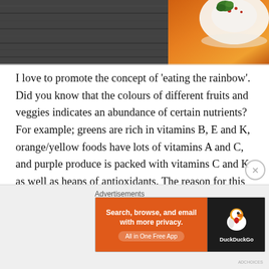[Figure (photo): Overhead photo: dark wooden table surface on the left, and an orange-tinted food dish with white cream/yogurt topping and green herbs on the right]
I love to promote the concept of 'eating the rainbow'. Did you know that the colours of different fruits and veggies indicates an abundance of certain nutrients? For example; greens are rich in vitamins B, E and K, orange/yellow foods have lots of vitamins A and C, and purple produce is packed with vitamins C and K as well as heaps of antioxidants. The reason for this is due to the phytochemicals that give plants their colour; each particular phytochemical brings with it a unique set of disease-busting chemicals – kind of like power rangers!
Advertisements
[Figure (screenshot): DuckDuckGo advertisement banner: orange left panel reading 'Search, browse, and email with more privacy. All in One Free App' and dark right panel with DuckDuckGo duck logo and text 'DuckDuckGo']